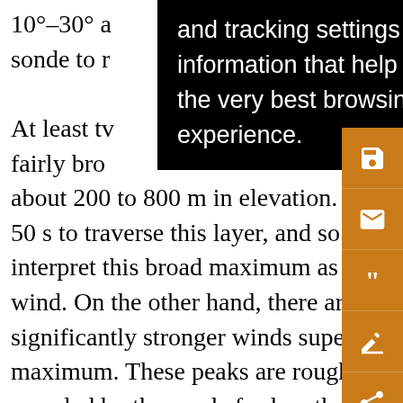10°–30° a[nd tracking settings to store]or a sonde to [r] At least tw[o] le. A fairly bro[ad maximum with speeds peaking from] about 200 to 800 m in elevation. It took the sonde roug[hly] 50 s to traverse this layer, and so it may be reasonable t[o] interpret this broad maximum as a sustained, or mean wind. On the other hand, there are three shallow layers [of] significantly stronger winds superimposed on the broa[d] maximum. These peaks are roughly 50 m deep and are sampled by the sonde for less than 5 s. Although one cannot determine the horizontal scale of these shallow features, it may be reasonable to interpret them as gusts. These interpretations presume that features of relatively deep vertical extent are also relatively large in azimuthal
[Figure (screenshot): Black tooltip/cookie-consent popup overlay reading: 'and tracking settings to store information that help give you the very best browsing experience.']
[Figure (infographic): Orange vertical sidebar with icons: save/disk, envelope/email, quotation marks, annotation/edit, and share icons.]